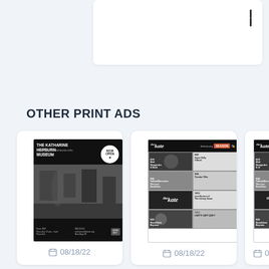[Figure (other): Partially visible white card at top of page with a small dark mark in upper right corner]
OTHER PRINT ADS
[Figure (photo): Print ad for The Katharine Hepburn Museum with 'NOW OPEN' badge, showing museum interior in black and white, with kate logo at bottom]
08/18/22
[Figure (other): Print ad for 'the kate' arts venue showing grid layout of multiple performances in black and white]
08/18/22
[Figure (other): Partially visible third print ad for 'the kate' arts venue, same grid layout, cropped at right edge]
08/18/22